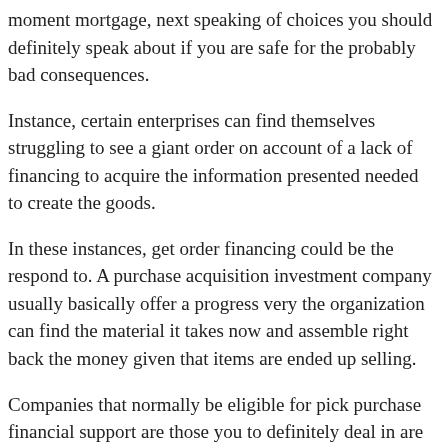moment mortgage, next speaking of choices you should definitely speak about if you are safe for the probably bad consequences.
Instance, certain enterprises can find themselves struggling to see a giant order on account of a lack of financing to acquire the information presented needed to create the goods.
In these instances, get order financing could be the respond to. A purchase acquisition investment company usually basically offer a progress very the organization can find the material it takes now and assemble right back the money given that items are ended up selling.
Companies that normally be eligible for pick purchase financial support are those you to definitely deal in are made merchandise-maybe not qualities-and this stand-to generate a margin out-of 20% or maybe more into revenue.